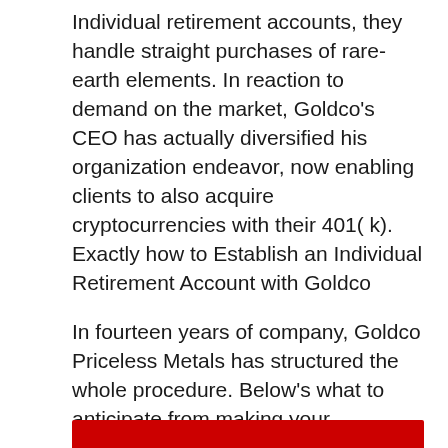Individual retirement accounts, they handle straight purchases of rare-earth elements. In reaction to demand on the market, Goldco's CEO has actually diversified his organization endeavor, now enabling clients to also acquire cryptocurrencies with their 401( k).
Exactly how to Establish an Individual Retirement Account with Goldco
In fourteen years of company, Goldco Priceless Metals has structured the whole procedure. Below's what to anticipate from making your preliminary get in touch with to completing your gold individual retirement account rollover:
[Figure (other): Red banner/button at bottom of page]